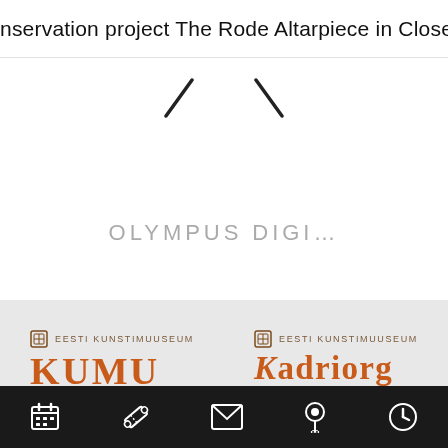nservation project The Rode Altarpiece in Close-Up   In
[Figure (other): Two diagonal arrow/slash marks pointing inward, navigation arrows for a slider]
OLYMPUS DIGI…
[Figure (logo): Eesti Kunstimuuseum KUMU logo in orange/rust color with small calendar icon]
[Figure (logo): Eesti Kunstimuuseum KADRIORG logo in orange/rust color with small calendar icon]
[Figure (other): Black bottom navigation bar with icons: calendar, ticket, envelope, location pin, clock]